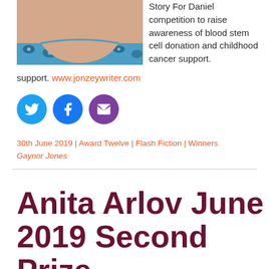[Figure (photo): A close-up photo of a person's chin/neck area wearing a blue floral patterned top]
Story For Daniel competition to raise awareness of blood stem cell donation and childhood cancer support. www.jonzeywriter.com
[Figure (infographic): Social media icons: Twitter (blue circle), Facebook (blue circle), Email (purple circle)]
30th June 2019 | Award Twelve | Flash Fiction | Winners
Gaynor Jones
Anita Arlov June 2019 Second Prize